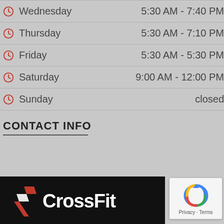Wednesday   5:30 AM - 7:40 PM
Thursday   5:30 AM - 7:10 PM
Friday   5:30 AM - 5:30 PM
Saturday   9:00 AM - 12:00 PM
Sunday   closed
CONTACT INFO
[Figure (logo): CrossFit logo on black background with red and white graphic mark]